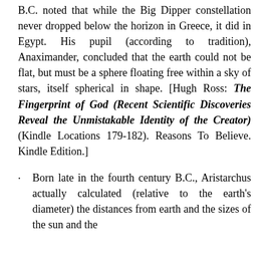B.C. noted that while the Big Dipper constellation never dropped below the horizon in Greece, it did in Egypt. His pupil (according to tradition), Anaximander, concluded that the earth could not be flat, but must be a sphere floating free within a sky of stars, itself spherical in shape. [Hugh Ross: The Fingerprint of God (Recent Scientific Discoveries Reveal the Unmistakable Identity of the Creator) (Kindle Locations 179-182). Reasons To Believe. Kindle Edition.]
Born late in the fourth century B.C., Aristarchus actually calculated (relative to the earth's diameter) the distances from earth and the sizes of the sun and the